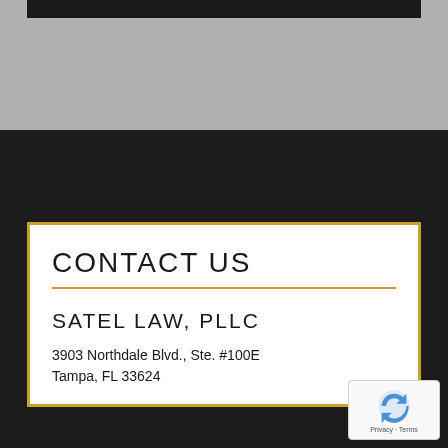[Figure (other): Gray background area at the top of the page, with a dark header bar]
CONTACT US
SATEL LAW, PLLC
3903 Northdale Blvd., Ste. #100E
Tampa, FL 33624
[Figure (other): reCAPTCHA badge with Privacy and Terms links]